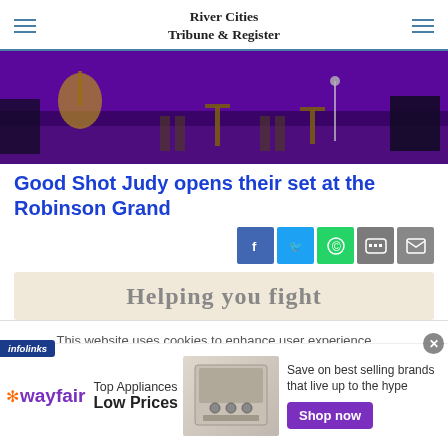River Cities Tribune & Register
[Figure (photo): Stage photo with purple lighting, instruments visible, concert venue setup at the Robinson Grand]
Good Shot Judy opens their set at the Robinson Grand
[Figure (infographic): Social sharing buttons: Facebook, Twitter, WhatsApp, SMS, Email]
[Figure (infographic): Advertisement banner: Helping you fight...]
This website uses cookies to enhance user experience to analyze performance and traffic on our website.
[Figure (infographic): Wayfair advertisement: Top Appliances Low Prices - Save on best selling brands that live up to the hype - Shop now]